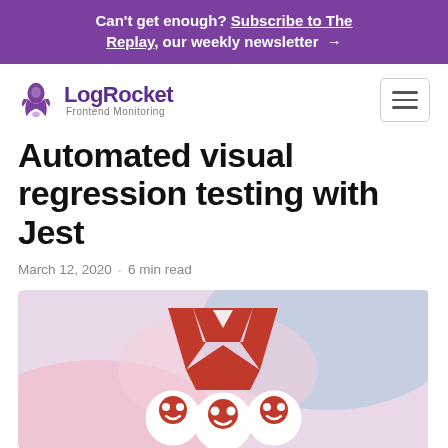Can't get enough? Subscribe to The Replay, our weekly newsletter →
[Figure (logo): LogRocket Frontend Monitoring logo with rocket icon]
Automated visual regression testing with Jest
March 12, 2020 · 6 min read
[Figure (illustration): Hero image showing Jest logo (red W shape) with circular test avatars on a soft pink and blue background]